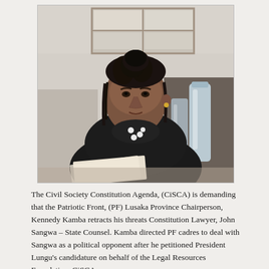[Figure (photo): A woman with dreadlocks tied up, wearing a black blazer over a black polka-dot top, seated at a desk with papers and a water bottle visible.]
The Civil Society Constitution Agenda, (CiSCA) is demanding that the Patriotic Front, (PF) Lusaka Province Chairperson, Kennedy Kamba retracts his threats Constitution Lawyer, John Sangwa – State Counsel. Kamba directed PF cadres to deal with Sangwa as a political opponent after he petitioned President Lungu's candidature on behalf of the Legal Resources Foundation. CiSCA